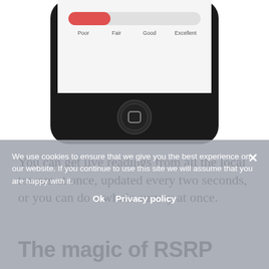[Figure (screenshot): Bottom portion of an iPhone showing a signal strength meter app with Poor/Fair/Good/Excellent scale, a red bar indicating poor signal, and the iPhone home button at the bottom.]
You can get live readings from all the local towers at once, updated every two seconds, or you can do a whole survey at once.
The magic of RSRP
We use cookies to ensure that we give you the best experience on our website. If you continue to use this site we will assume that you are happy with it.
Ok  Privacy policy